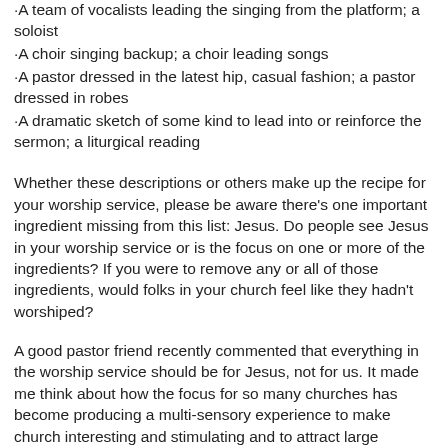·A team of vocalists leading the singing from the platform; a soloist
·A choir singing backup; a choir leading songs
·A pastor dressed in the latest hip, casual fashion; a pastor dressed in robes
·A dramatic sketch of some kind to lead into or reinforce the sermon; a liturgical reading
Whether these descriptions or others make up the recipe for your worship service, please be aware there's one important ingredient missing from this list: Jesus. Do people see Jesus in your worship service or is the focus on one or more of the ingredients? If you were to remove any or all of those ingredients, would folks in your church feel like they hadn't worshiped?
A good pastor friend recently commented that everything in the worship service should be for Jesus, not for us. It made me think about how the focus for so many churches has become producing a multi-sensory experience to make church interesting and stimulating and to attract large numbers. Now, there's nothing wrong with wanting church to be interesting and stimulating, but if Jesus is the one...